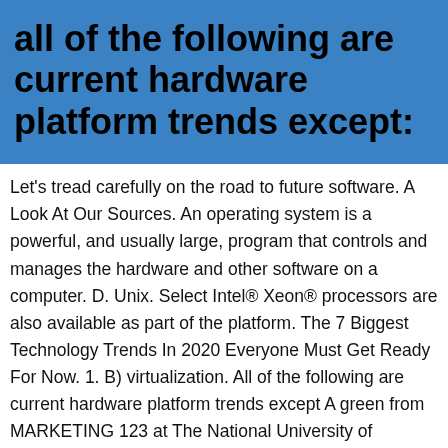all of the following are current hardware platform trends except:
Let's tread carefully on the road to future software. A Look At Our Sources. An operating system is a powerful, and usually large, program that controls and manages the hardware and other software on a computer. D. Unix. Select Intel® Xeon® processors are also available as part of the platform. The 7 Biggest Technology Trends In 2020 Everyone Must Get Ready For Now. 1. B) virtualization. All of the following are current hardware platform trends except A green from MARKETING 123 at The National University of Malaysia Each specific hardware platform has its own machine language, and programs must be built specifically for a platform that involves a standardized type of processor and associated hardware ... All of the following are current hardware